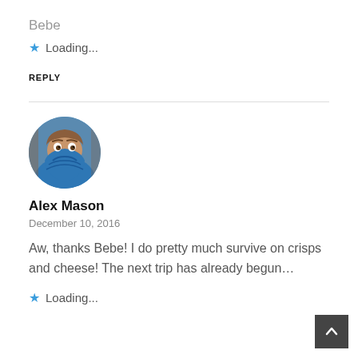Bebe
★ Loading...
REPLY
[Figure (photo): Circular avatar photo of Alex Mason wearing a blue puffy jacket/sleeping bag pulled up around his face, looking at the camera with wide eyes.]
Alex Mason
December 10, 2016
Aw, thanks Bebe! I do pretty much survive on crisps and cheese! The next trip has already begun…
★ Loading...